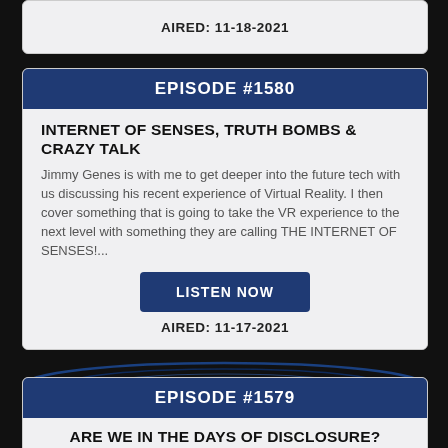AIRED: 11-18-2021
EPISODE #1580
INTERNET OF SENSES, TRUTH BOMBS & CRAZY TALK
Jimmy Genes is with me to get deeper into the future tech with us discussing his recent experience of Virtual Reality. I then cover something that is going to take the VR experience to the next level with something they are calling THE INTERNET OF SENSES!...
LISTEN NOW
AIRED: 11-17-2021
EPISODE #1579
ARE WE IN THE DAYS OF DISCLOSURE?
Ben Emlyn-Jones is back on the show & we go over a whole